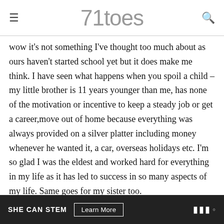71toes
wow it's not something I've thought too much about as ours haven't started school yet but it does make me think. I have seen what happens when you spoil a child – my little brother is 11 years younger than me, has none of the motivation or incentive to keep a steady job or get a career,move out of home because everything was always provided on a silver platter including money whenever he wanted it, a car, overseas holidays etc. I'm so glad I was the eldest and worked hard for everything in my life as it has led to success in so many aspects of my life. Same goes for my sister too.
now with college, in australia we don't seem to have the same tradition of paying for our children's college/uni fees. But our
SHE CAN STEM  Learn More